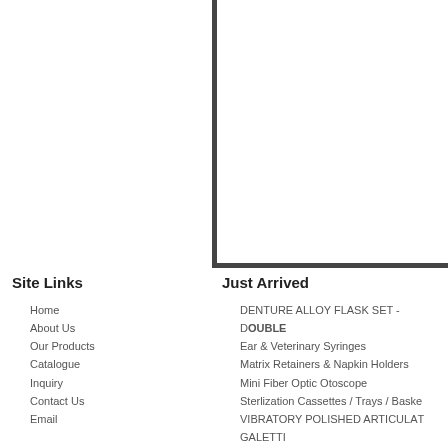[Figure (other): Partial view of a product or decorative image with an L-shaped dark border visible in the upper portion of the page]
Site Links
Home
About Us
Our Products
Catalogue
Inquiry
Contact Us
Email
Just Arrived
DENTURE ALLOY FLASK SET - DOUBLE
Ear & Veterinary Syringes
Matrix Retainers & Napkin Holders
Mini Fiber Optic Otoscope
Sterlization Cassettes / Trays / Baskets
VIBRATORY POLISHED ARTICULATOR
GALETTI